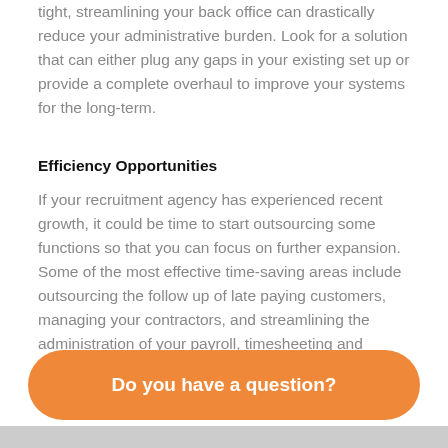tight, streamlining your back office can drastically reduce your administrative burden. Look for a solution that can either plug any gaps in your existing set up or provide a complete overhaul to improve your systems for the long-term.
Efficiency Opportunities
If your recruitment agency has experienced recent growth, it could be time to start outsourcing some functions so that you can focus on further expansion. Some of the most effective time-saving areas include outsourcing the follow up of late paying customers, managing your contractors, and streamlining the administration of your payroll, timesheeting and invoicing.
Do you have a question?